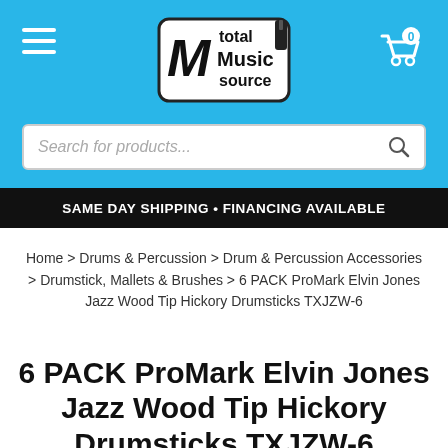[Figure (logo): Total Music Source logo — black and white badge with musical note and text 'total Music source']
Search for products...
SAME DAY SHIPPING • FINANCING AVAILABLE
Home > Drums & Percussion > Drum & Percussion Accessories > Drumstick, Mallets & Brushes > 6 PACK ProMark Elvin Jones Jazz Wood Tip Hickory Drumsticks TXJZW-6
6 PACK ProMark Elvin Jones Jazz Wood Tip Hickory Drumsticks TXJZW-6